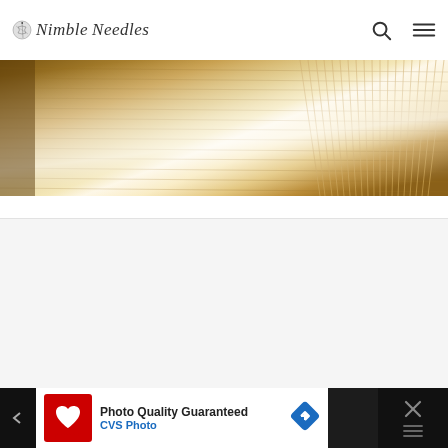Nimble Needles
[Figure (photo): Close-up photo of wooden weaving loom with threads/needles, warm golden brown tones with light flares]
[Figure (other): Light gray empty content/ad placeholder block]
[Figure (other): Advertisement banner: CVS Photo - Photo Quality Guaranteed, with CVS Pharmacy logo and navigation arrow, dark background with close button]